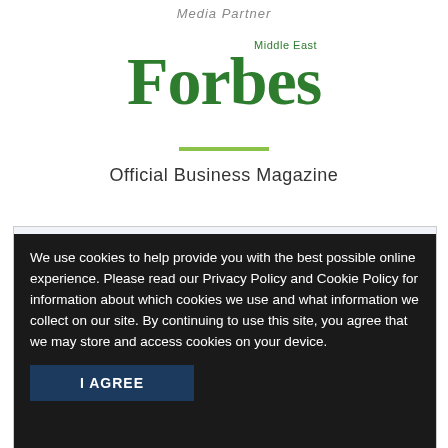Media Partner
[Figure (logo): Forbes Middle East logo in green]
Official Business Magazine
We use cookies to help provide you with the best possible online experience. Please read our Privacy Policy and Cookie Policy for information about which cookies we use and what information we collect on our site. By continuing to use this site, you agree that we may store and access cookies on your device.